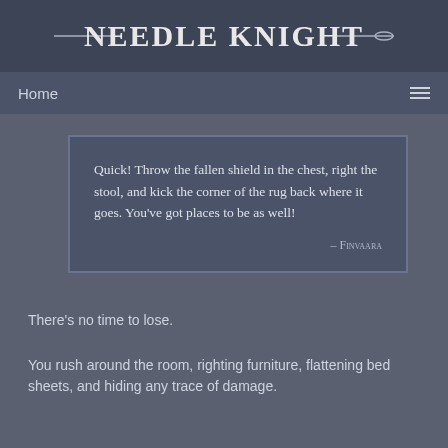Needle Knight
Home
Quick! Throw the fallen shield in the chest, right the stool, and kick the corner of the rug back where it goes. You’ve got places to be as well!
– Finvaara
There’s no time to lose.
You rush around the room, righting furniture, flattening bed sheets, and hiding any trace of damage.